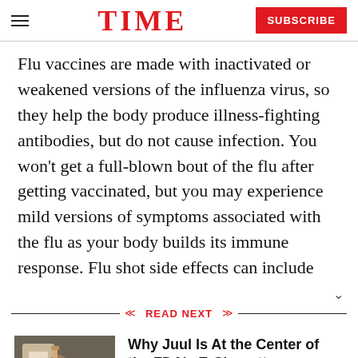TIME — SUBSCRIBE
Flu vaccines are made with inactivated or weakened versions of the influenza virus, so they help the body produce illness-fighting antibodies, but do not cause infection. You won't get a full-blown bout of the flu after getting vaccinated, but you may experience mild versions of symptoms associated with the flu as your body builds its immune response. Flu shot side effects can include
READ NEXT
[Figure (photo): Person holding a Juul e-cigarette device]
Why Juul Is At the Center of the FDA's E-Cigarette Investigation